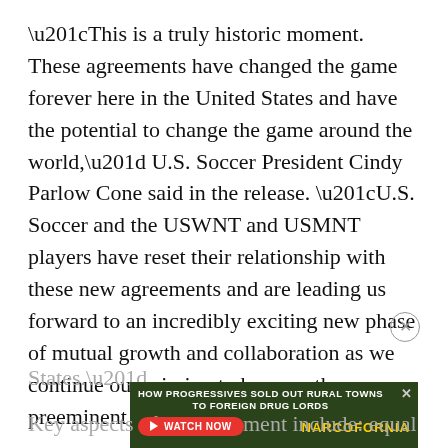“This is a truly historic moment. These agreements have changed the game forever here in the United States and have the potential to change the game around the world,” U.S. Soccer President Cindy Parlow Cone said in the release. “U.S. Soccer and the USWNT and USMNT players have reset their relationship with these new agreements and are leading us forward to an incredibly exciting new phase of mutual growth and collaboration as we continue our mission to become the preeminent sport in the United States.”
[Figure (other): Advertisement banner: HOW PROGRESSIVES SOLD OUT RURAL TOWNS TO FOREIGN DRUG LORDS - NARCOFORNIA - WATCH NOW button]
Key aspects of the agreement include: equal pay